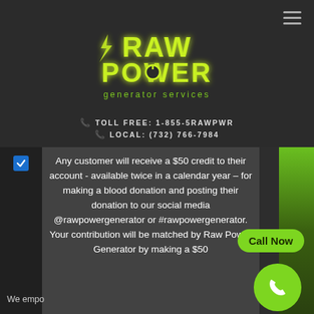[Figure (logo): Raw Power Generator Services logo with neon green lightning bolt text on dark background]
TOLL FREE: 1-855-5RAWPWR
LOCAL: (732) 766-7984
Any customer will receive a $50 credit to their account - available twice in a calendar year - for making a blood donation and posting their donation to our social media @rawpowergenerator or #rawpowergenerator. Your contribution will be matched by Raw Power Generator by making a $50
We empo
Call Now